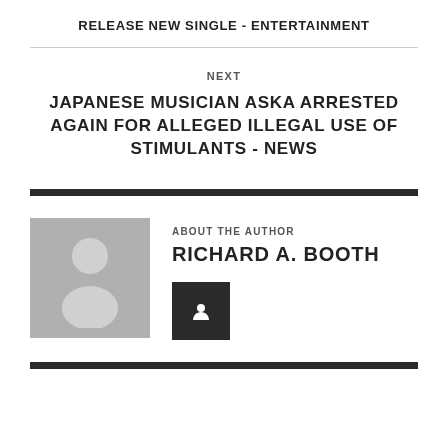RELEASE NEW SINGLE - ENTERTAINMENT
NEXT
JAPANESE MUSICIAN ASKA ARRESTED AGAIN FOR ALLEGED ILLEGAL USE OF STIMULANTS - NEWS
ABOUT THE AUTHOR
RICHARD A. BOOTH